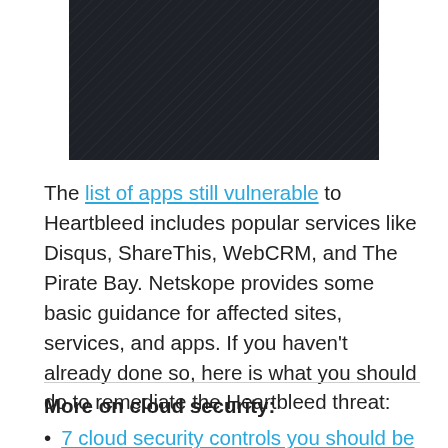[Figure (photo): Dark/black image, appears to be a screenshot or graphic with dark background]
The list of apps still vulnerable to Heartbleed includes popular services like Disqus, ShareThis, WebCRM, and The Pirate Bay. Netskope provides some basic guidance for affected sites, services, and apps. If you haven't already done so, here is what you should do to remediate the Heartbleed threat:
More on cloud security:
7 cloud security controls you should be using